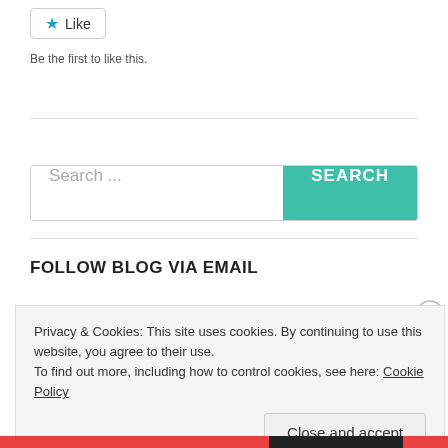[Figure (other): Like button with blue star icon and border]
Be the first to like this.
[Figure (other): Search bar with teal SEARCH button]
FOLLOW BLOG VIA EMAIL
Privacy & Cookies: This site uses cookies. By continuing to use this website, you agree to their use.
To find out more, including how to control cookies, see here: Cookie Policy
[Figure (other): Close and accept button and X close icon for cookie overlay]